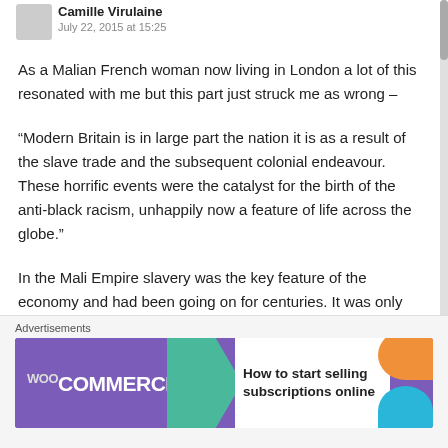Camille Virulaine — July 22, 2015 at 15:25
As a Malian French woman now living in London a lot of this resonated with me but this part just struck me as wrong –
“Modern Britain is in large part the nation it is as a result of the slave trade and the subsequent colonial endeavour. These horrific events were the catalyst for the birth of the anti-black racism, unhappily now a feature of life across the globe.”
In the Mali Empire slavery was the key feature of the economy and had been going on for centuries. It was only when the French got there that they stopped it,
Advertisements
[Figure (other): WooCommerce advertisement banner: purple background with green arrow shape, text 'How to start selling subscriptions online', orange and blue decorative shapes]